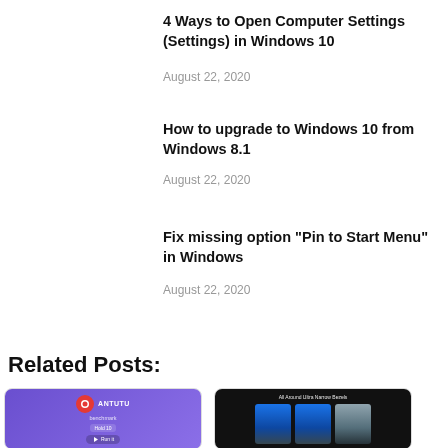4 Ways to Open Computer Settings (Settings) in Windows 10
August 22, 2020
How to upgrade to Windows 10 from Windows 8.1
August 22, 2020
Fix missing option "Pin to Start Menu" in Windows
August 22, 2020
Related Posts:
[Figure (screenshot): AnTuTu benchmark app screenshot on purple background]
[Figure (screenshot): Phones lineup promotional image on dark background with text 'All Around Ultra Narrow Bezels']